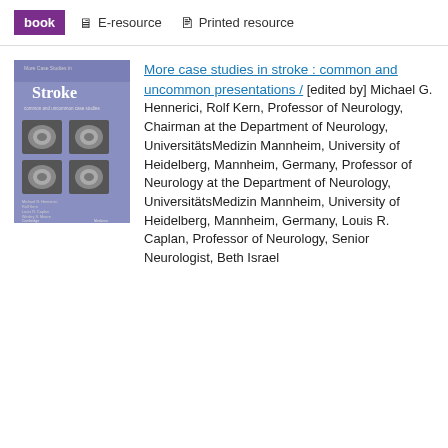book  E-resource  Printed resource
[Figure (illustration): Book cover of 'More Case Studies in Stroke' with purple background and brain MRI images, published by Cambridge]
More case studies in stroke : common and uncommon presentations / [edited by] Michael G. Hennerici, Rolf Kern, Professor of Neurology, Chairman at the Department of Neurology, UniversitätsMedizin Mannheim, University of Heidelberg, Mannheim, Germany, Professor of Neurology at the Department of Neurology, UniversitätsMedizin Mannheim, University of Heidelberg, Mannheim, Germany, Louis R. Caplan, Professor of Neurology, Senior Neurologist, Beth Israel